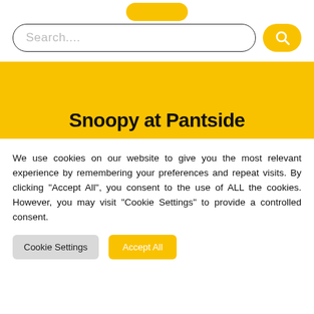[Figure (screenshot): Search bar with rounded border and placeholder text 'Search....' alongside a yellow rounded search button with magnifying glass icon]
Snoopy at Pantside
We use cookies on our website to give you the most relevant experience by remembering your preferences and repeat visits. By clicking “Accept All”, you consent to the use of ALL the cookies. However, you may visit "Cookie Settings" to provide a controlled consent.
Cookie Settings
Accept All